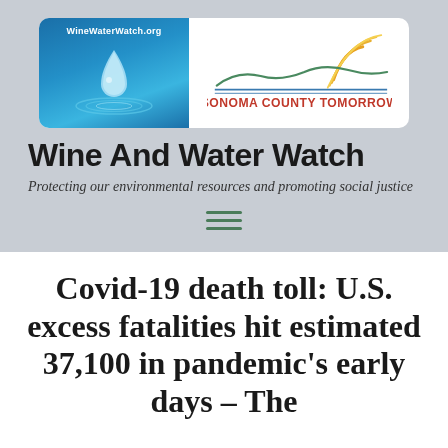[Figure (logo): Wine Water Watch and Sonoma County Tomorrow combined logo banner with water drop imagery and sun/hills graphic]
Wine And Water Watch
Protecting our environmental resources and promoting social justice
[Figure (other): Hamburger menu icon with three horizontal green lines]
Covid-19 death toll: U.S. excess fatalities hit estimated 37,100 in pandemic's early days – The